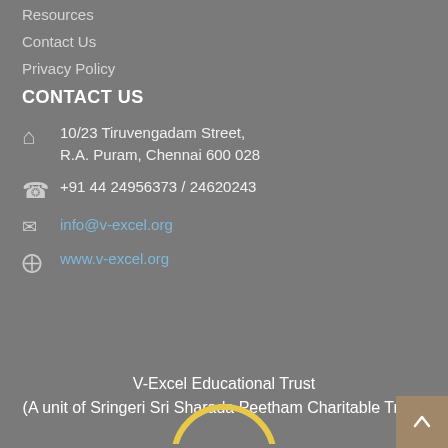Resources
Contact Us
Privacy Policy
CONTACT US
10/23 Tiruvengadam Street, R.A. Puram, Chennai 600 028
+91 44 24956373 / 24620243
info@v-excel.org
www.v-excel.org
V-Excel Educational Trust
(A unit of Sringeri Sri Sharada Peetham Charitable Trust)
[Figure (logo): Partial circular logo arc visible at bottom center of page]